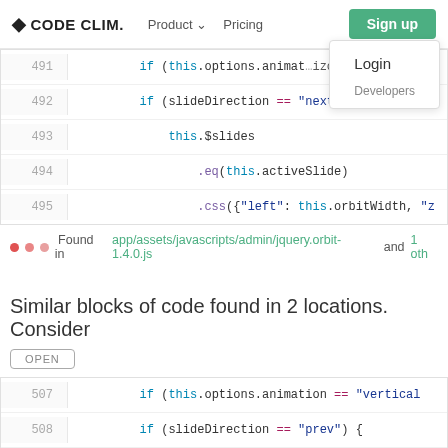CODE CLIM. | Product | Pricing | Sign up | Login | Developers
[Figure (screenshot): Code block showing lines 491-495 of JavaScript with syntax highlighting. Line 491: if (this.options.animat...izont. Line 492: if (slideDirection == 'next') {. Line 493: this.$slides. Line 494: .eq(this.activeSlide). Line 495: .css({'left': this.orbitWidth, 'z]
Found in app/assets/javascripts/admin/jquery.orbit-1.4.0.js and 1 oth
Similar blocks of code found in 2 locations. Consider
OPEN
[Figure (screenshot): Code block showing lines 507-511 of JavaScript with syntax highlighting. Line 507: if (this.options.animation == 'vertical'. Line 508: if (slideDirection == 'prev') {. Line 509: this.$slides. Line 510: .eq(this.activeSlide). Line 511: .css({'top': this.orbitHeight, 'z]
Found in app/assets/javascripts/admin/jquery.orbit-1.4.0.js and 1 oth